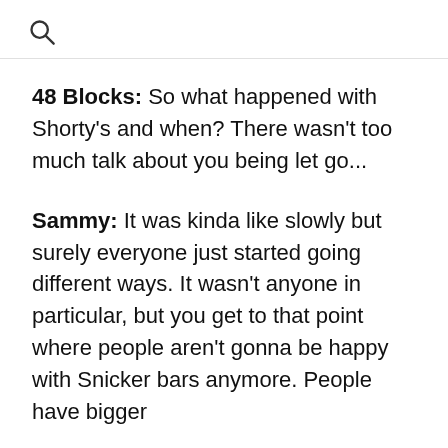[search icon]
48 Blocks: So what happened with Shorty's and when? There wasn't too much talk about you being let go...
Sammy: It was kinda like slowly but surely everyone just started going different ways. It wasn't anyone in particular, but you get to that point where people aren't gonna be happy with Snicker bars anymore. People have bigger